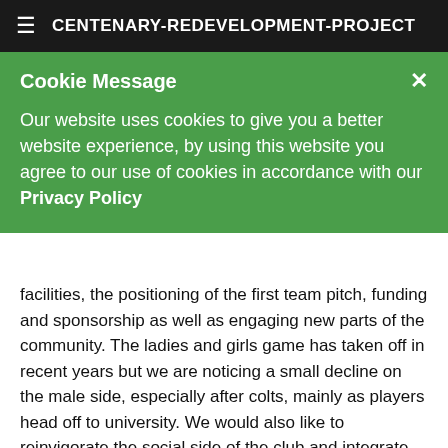CENTENARY-REDEVELOPMENT-PROJECT
Cookie Message
Our website uses cookies to give you a better website experience, by using this website you agree to our use of cookies in accordance with our Privacy Policy
facilities, the positioning of the first team pitch, funding and sponsorship as well as engaging new parts of the community. The ladies and girls game has taken off in recent years but we are noticing a small decline on the male side, especially after colts, mainly as players head off to university. We would also like to reinvigorate the social side of the club and integrate the various different age groups to ensure we operate as one club. At present there is no intention whatsoever to move away from the fiercely amateur ethos of the club so James accepts there is probably a ceiling to the club's ambition on the playing front at the top end of the regional leagues, or